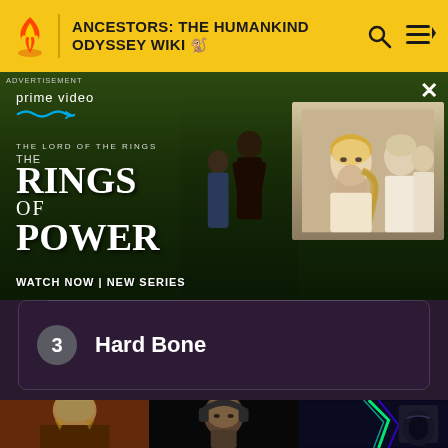ANCESTORS: THE HUMANKIND ODYSSEY WIKI
[Figure (screenshot): Amazon Prime Video advertisement for 'The Lord of the Rings: The Rings of Power' - showing two dramatic characters and a close-up of a blonde woman with others; text reads 'prime video / THE LORD OF THE RINGS / THE RINGS OF POWER / WATCH NOW | NEW SERIES']
3   Hard Bone
[Figure (photo): Three thumbnail images at bottom: a fantasy game character illustration (blonde warrior), a person wearing gaming headphones in dark setting, and gaming headphones with RGB lighting]